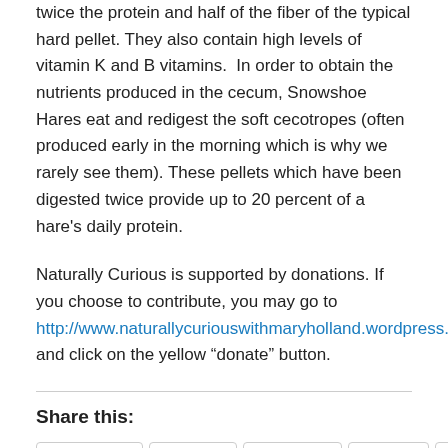twice the protein and half of the fiber of the typical hard pellet. They also contain high levels of vitamin K and B vitamins.  In order to obtain the nutrients produced in the cecum, Snowshoe Hares eat and redigest the soft cecotropes (often produced early in the morning which is why we rarely see them). These pellets which have been digested twice provide up to 20 percent of a hare's daily protein.
Naturally Curious is supported by donations. If you choose to contribute, you may go to http://www.naturallycuriouswithmaryholland.wordpress.com and click on the yellow “donate” button.
Share this:
Facebook
Twitter
LinkedIn
Email
Print